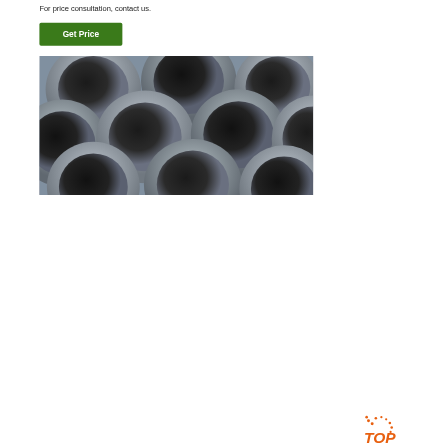For price consultation, contact us.
[Figure (other): Green 'Get Price' button]
[Figure (photo): Stack of steel hollow pipes/tubes viewed from the end, showing circular cross-sections in grey metallic tones]
[Figure (infographic): 24/7 Online customer service sidebar with a woman wearing a headset, 'Click here for free chat!' text, and an orange QUOTATION button]
[Figure (logo): Orange 'TOP' badge with dotted arc above it in bottom right corner]